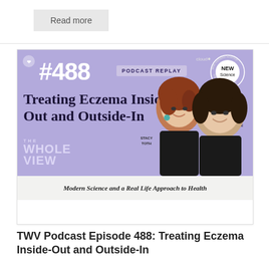Read more
[Figure (photo): Podcast episode card with purple background showing episode #488 'Treating Eczema Inside-Out and Outside-In' for The Whole View podcast, with two female hosts and text 'Modern Science and a Real Life Approach to Health']
TWV Podcast Episode 488: Treating Eczema Inside-Out and Outside-In